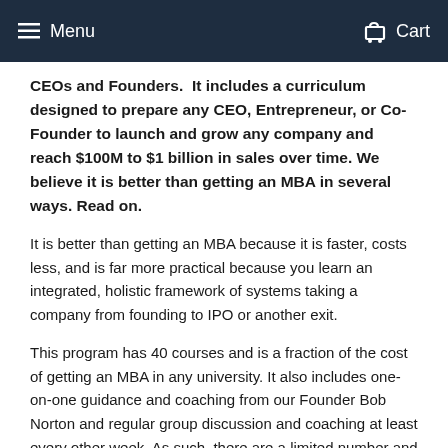Menu   Cart
CEOs and Founders.  It includes a curriculum designed to prepare any CEO, Entrepreneur, or Co-Founder to launch and grow any company and reach $100M to $1 billion in sales over time. We believe it is better than getting an MBA in several ways. Read on.
It is better than getting an MBA because it is faster, costs less, and is far more practical because you learn an integrated, holistic framework of systems taking a company from founding to IPO or another exit.
This program has 40 courses and is a fraction of the cost of getting an MBA in any university. It also includes one-on-one guidance and coaching from our Founder Bob Norton and regular group discussion and coaching at least every other week. As such, there are a limited number and an application is required.